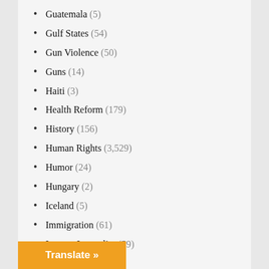Guatemala (5)
Gulf States (54)
Gun Violence (50)
Guns (14)
Haiti (3)
Health Reform (179)
History (156)
Human Rights (3,529)
Humor (24)
Hungary (2)
Iceland (5)
Immigration (61)
Income Inequality (59)
India (60)
Indigenous People (60)
Indonesia (2)
Intelligence (1,977)
International (1,017)
International Criminal Court (ICC) (11)